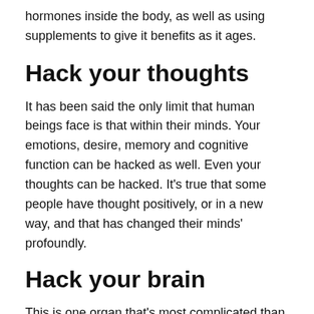hormones inside the body, as well as using supplements to give it benefits as it ages.
Hack your thoughts
It has been said the only limit that human beings face is that within their minds. Your emotions, desire, memory and cognitive function can be hacked as well. Even your thoughts can be hacked. It's true that some people have thought positively, or in a new way, and that has changed their minds' profoundly.
Hack your brain
This is one organ that's most complicated than any other organ in the body. It's made up of different pieces that play together to make up one perfect neuro symphony. That only means that there are lots of areas in the brain that can be hacked to get desirable results in life, work,